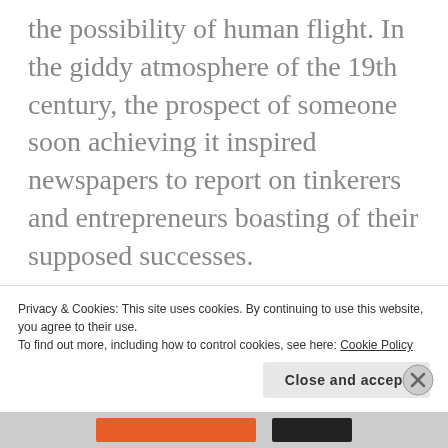the possibility of human flight. In the giddy atmosphere of the 19th century, the prospect of someone soon achieving it inspired newspapers to report on tinkerers and entrepreneurs boasting of their supposed successes.
“The wave of mysterious airship sightings that began in 1896 did not trigger widespread fear. The accepted explanation for these aircraft was terrestrial and quaint: Some ingenious eccentric
Privacy & Cookies: This site uses cookies. By continuing to use this website, you agree to their use.
To find out more, including how to control cookies, see here: Cookie Policy